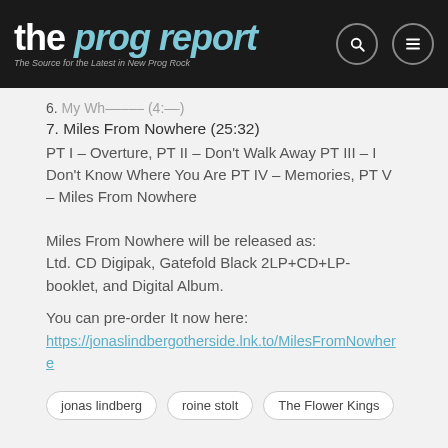the prog report – The Source for the Latest in New Prog Rock
6. [truncated] (4:45)
7. Miles From Nowhere (25:32)
PT I – Overture, PT II – Don't Walk Away PT III – I Don't Know Where You Are PT IV – Memories, PT V – Miles From Nowhere
Miles From Nowhere will be released as:
Ltd. CD Digipak, Gatefold Black 2LP+CD+LP-booklet, and Digital Album.
You can pre-order It now here:
https://jonaslindbergotherside.lnk.to/MilesFromNowhere
jonas lindberg
roine stolt
The Flower Kings